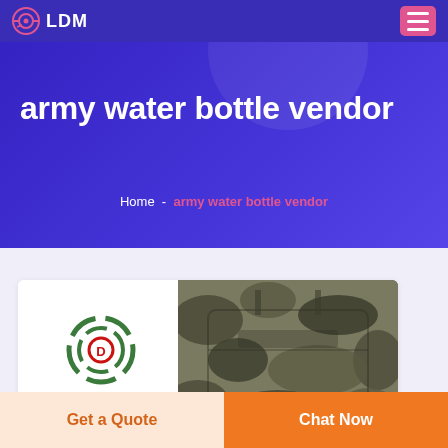LDM
army water bottle vendor
Home  -  army water bottle vendor
[Figure (logo): DEEKON brand logo with circular target/crosshair icon in green and red, brand name DEEKON in red bold letters, and a camouflage military water bottle pouch product image]
Get a Quote
Chat Now